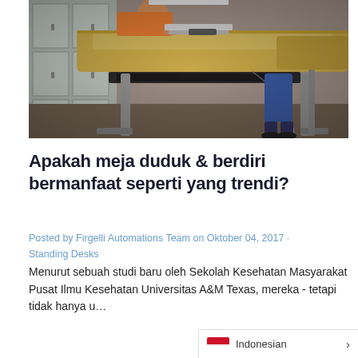[Figure (photo): Photo of a sit-stand desk with wooden surface and metal adjustable legs. A person in orange top is visible working at the desk with a laptop. Office/classroom environment with lockers in background.]
Apakah meja duduk & berdiri bermanfaat seperti yang trendi?
Posted by Firgelli Automations Team on Oktober 04, 2017 · Standing Desks
Menurut sebuah studi baru oleh Sekolah Kesehatan Masyarakat Pusat Ilmu Kesehatan Universitas A&M Texas, mereka - tetapi tidak hanya u... sekitar Meja berdiri juga...